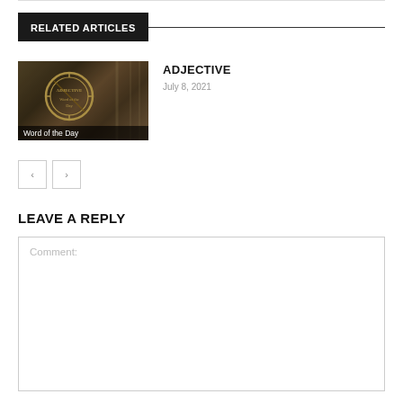RELATED ARTICLES
[Figure (photo): Photo of a gold stamp/seal with the word ADJECTIVE on it, on a wooden surface. Caption overlay reads 'Word of the Day'.]
ADJECTIVE
July 8, 2021
LEAVE A REPLY
Comment: